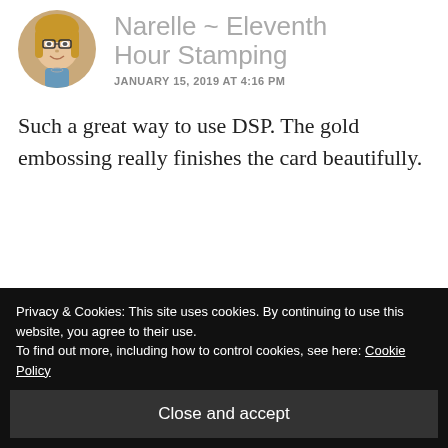[Figure (photo): Circular avatar photo of a woman with glasses and short blonde hair, smiling]
Narelle ~ Eleventh Hour Stamping
JANUARY 15, 2019 AT 4:16 PM
Such a great way to use DSP. The gold embossing really finishes the card beautifully.
★ Like
REPLY
Privacy & Cookies: This site uses cookies. By continuing to use this website, you agree to their use.
To find out more, including how to control cookies, see here: Cookie Policy
Close and accept